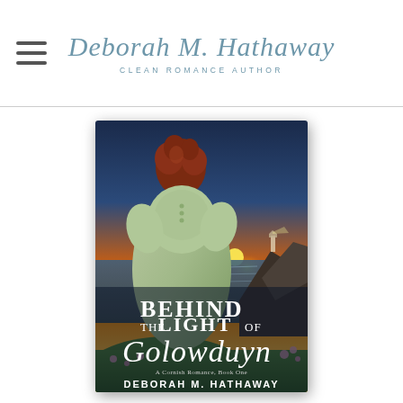Deborah M. Hathaway — Clean Romance Author
[Figure (illustration): Book cover for 'Behind the Light of Golowduyn — A Cornish Romance, Book One' by Deborah M. Hathaway. Shows a woman with auburn hair in a period green dress seen from behind, looking toward a dramatic coastal sunset scene with rocky cliffs, ocean, and a distant lighthouse. Title text overlaid in white serif font.]